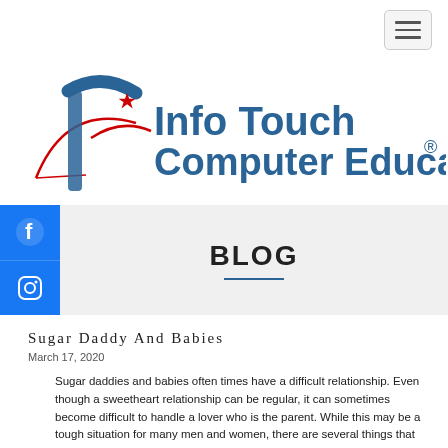[Figure (logo): Info Touch Computer Education logo with stylized arrow/cursor icon in blue and red, with registered trademark symbol]
BLOG
Sugar Daddy And Babies
March 17, 2020
Sugar daddies and babies often times have a difficult relationship. Even though a sweetheart relationship can be regular, it can sometimes become difficult to handle a lover who is the parent. While this may be a tough situation for many men and women, there are several things that you can do to help your sweetheart manage being a